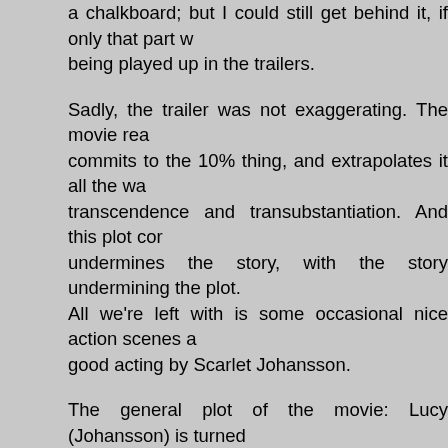a chalkboard; but I could still get behind it, if only that part w being played up in the trailers.
Sadly, the trailer was not exaggerating. The movie rea commits to the 10% thing, and extrapolates it all the wa transcendence and transubstantiation. And this plot cor undermines the story, with the story undermining the plot. All we're left with is some occasional nice action scenes a good acting by Scarlet Johansson.
The general plot of the movie: Lucy (Johansson) is turned unwitting drug mule for an experimental drug. When the drugs is broken while still inside of her, she gets super pow starts to transcend. While mourning the loss of her huma then tries to get more of the drug so that she can further tr Also, there are bad guys that are generally good at blowin up that act as mere annoyances to Lucy. Lucy succ transcending. Cue 2001 space baby.
To me, that sounds like a perfectly reasonable plot to an a movie with about ten lines of subtitled dialogue. There's need to explain what's going on here, and any explanatio necessity cut into the trippiness of the high concept by forc answer questions that we shouldn't have needed to articula first place.
Unfortunately, Besson wanted to focus on that expla